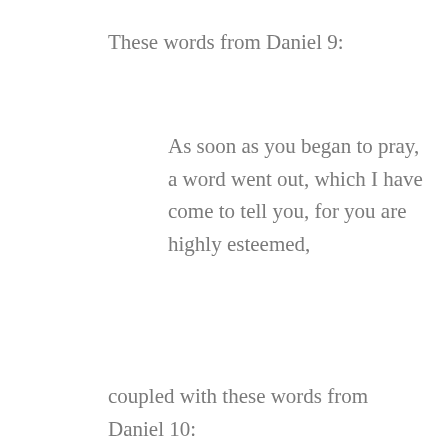These words from Daniel 9:
As soon as you began to pray, a word went out, which I have come to tell you, for you are highly esteemed,
coupled with these words from Daniel 10:
Since the first day that you set your mind to gain understanding and to humble yourself before your God, your words were